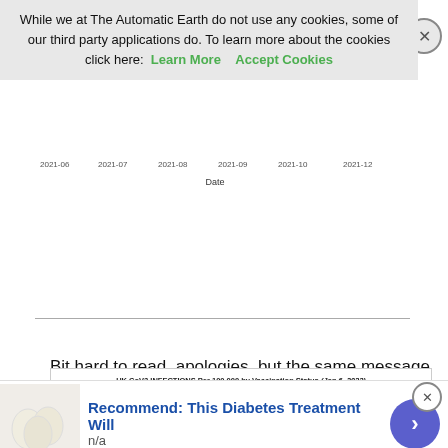While we at The Automatic Earth do not use any cookies, some of our third party applications do. To learn more about the cookies click here: Learn More   Accept Cookies
[Figure (continuous-plot): Partial chart snippet showing x-axis date labels (2021-06, 2021-07, 2021-08, 2021-09, 2021-10, 2021-12) and 'Date' label, cut off at top by cookie banner.]
Bit hard to read, apologies, but the same message
[Figure (continuous-plot): UK CoV2 INFECTIONS Per 100,000 by Vaccination Status (Jan 6, 2022). Source: UK HSA/PHE COVID-19 Vaccine Surveillance Reports: Week 26 - Week 2. Shows lines for Fully Vaxxed and Not Vaxxed cohorts by age group. Key points: The fully vaxxed in all age cohorts still see significant rates of infection. Rates are now HIGHER, usually much higher, among FULLY VAXXED in ALL adult age cohorts. Rates in senior vaxxed cohorts, falling recently, have reversed & are rising sharply again. Infection rates more rapidly among vaxxed in all age cohorts.]
Recommend: This Diabetes Treatment Will
n/a